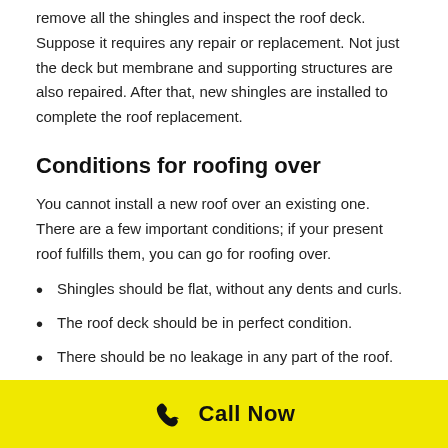remove all the shingles and inspect the roof deck. Suppose it requires any repair or replacement. Not just the deck but membrane and supporting structures are also repaired. After that, new shingles are installed to complete the roof replacement.
Conditions for roofing over
You cannot install a new roof over an existing one. There are a few important conditions; if your present roof fulfills them, you can go for roofing over.
Shingles should be flat, without any dents and curls.
The roof deck should be in perfect condition.
There should be no leakage in any part of the roof.
The roof should not have any ventilation-related
[Figure (infographic): Yellow call-to-action bar at page bottom with phone icon and 'Call Now' text in bold black on yellow background]